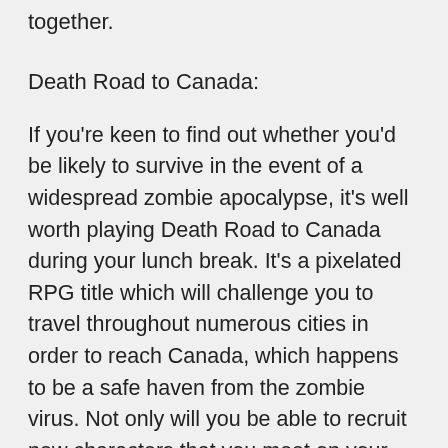together.
Death Road to Canada:
If you're keen to find out whether you'd be likely to survive in the event of a widespread zombie apocalypse, it's well worth playing Death Road to Canada during your lunch break. It's a pixelated RPG title which will challenge you to travel throughout numerous cities in order to reach Canada, which happens to be a safe haven from the zombie virus. Not only will you be able to recruit new characters that you meet on your journey to your team but you'll also be able to make crucial decisions on your adventure